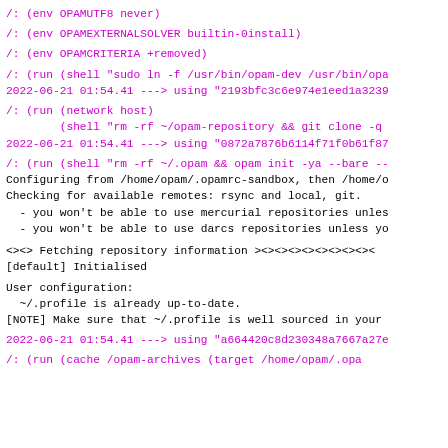/: (env OPAMUTF8 never)
/: (env OPAMEXTERNALSOLVER builtin-0install)
/: (env OPAMCRITERIA +removed)
/: (run (shell "sudo ln -f /usr/bin/opam-dev /usr/bin/opa
2022-06-21 01:54.41 ---> using "2193bfc3c6e974e1eed1a3239
/: (run (network host)
        (shell "rm -rf ~/opam-repository && git clone -q
2022-06-21 01:54.41 ---> using "0872a7876b6114f71f0b61f87
/: (run (shell "rm -rf ~/.opam && opam init -ya --bare --
Configuring from /home/opam/.opamrc-sandbox, then /home/o
Checking for available remotes: rsync and local, git.
  - you won't be able to use mercurial repositories unles
  - you won't be able to use darcs repositories unless yo
<><> Fetching repository information ><><><><><><><><><
[default] Initialised
User configuration:
  ~/.profile is already up-to-date.
[NOTE] Make sure that ~/.profile is well sourced in your
2022-06-21 01:54.41 ---> using "a664420c8d230348a7667a27e
/: (run (cache /opam-archives (target /home/opam/.opa